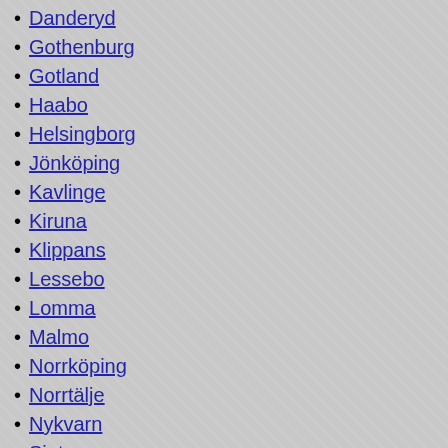Danderyd
Gothenburg
Gotland
Haabo
Helsingborg
Jönköping
Kavlinge
Kiruna
Klippans
Lessebo
Lomma
Malmo
Norrköping
Norrtälje
Nykvarn
Sigtuna
Stockholm
Uppvidinge
Region
Now we have another type of subdivision in Sweden, the region. The name is influenced by regions set up in other member states of the European Union. In Sweden, a region has de facto come to be